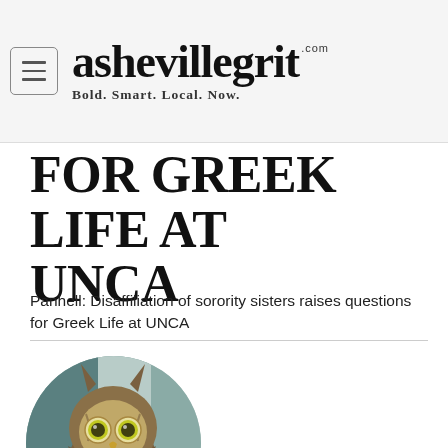ashevillegrit.com — Bold. Smart. Local. Now.
FOR GREEK LIFE AT UNCA
Panhell: Disaffiliation of sorority sisters raises questions for Greek Life at UNCA
[Figure (photo): Circular profile photo of a great horned owl looking forward with yellow eyes, beak slightly open, brown and white feather pattern, blurred background]